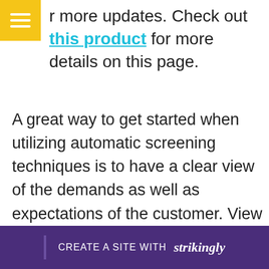r more updates. Check out this product for more details on this page.
A great way to get started when utilizing automatic screening techniques is to have a clear view of the demands as well as expectations of the customer. View here for more details. This assists in defining the extent of the jobs and enables testers to make a step-by-step plan to test the software completely. Read more about this website. When the strategy is executed, the testers... completely... out this...
[Figure (other): Strikingly website builder promotional bar at the bottom: CREATE A SITE WITH strikingly]